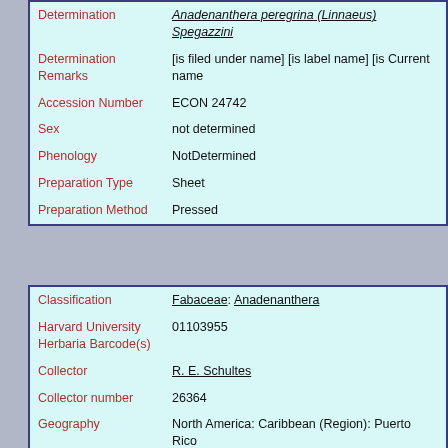| Determination | Anadenanthera peregrina (Linnaeus) Spegazzini |
| Determination Remarks | [is filed under name] [is label name] [is Current name |
| Accession Number | ECON 24742 |
| Sex | not determined |
| Phenology | NotDetermined |
| Preparation Type | Sheet |
| Preparation Method | Pressed |
| Classification | Fabaceae: Anadenanthera |
| Harvard University Herbaria Barcode(s) | 01103955 |
| Collector | R. E. Schultes |
| Collector number | 26364 |
| Geography | North America: Caribbean (Region): Puerto Rico |